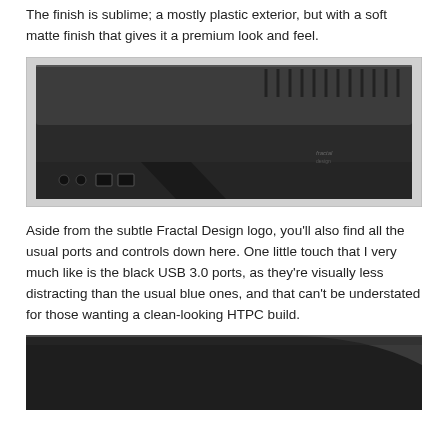The finish is sublime; a mostly plastic exterior, but with a soft matte finish that gives it a premium look and feel.
[Figure (photo): Front view of a Fractal Design HTPC case — a flat, low-profile dark grey/black case with ventilation slots on top, Fractal Design logo on the right front face, and audio jacks plus black USB 3.0 ports on the lower front panel.]
Aside from the subtle Fractal Design logo, you'll also find all the usual ports and controls down here. One little touch that I very much like is the black USB 3.0 ports, as they're visually less distracting than the usual blue ones, and that can't be understated for those wanting a clean-looking HTPC build.
[Figure (photo): Close-up partial view of the dark matte surface of the Fractal Design HTPC case, showing the curved edge and matte finish detail.]